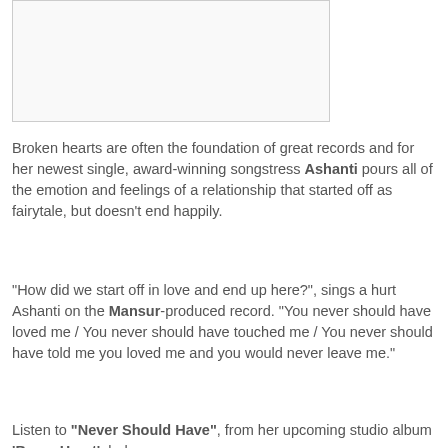[Figure (other): Partially visible image, mostly white/blank area within a bordered rectangle]
Broken hearts are often the foundation of great records and for her newest single, award-winning songstress Ashanti pours all of the emotion and feelings of a relationship that started off as fairytale, but doesn't end happily.
"How did we start off in love and end up here?", sings a hurt Ashanti on the Mansur-produced record. "You never should have loved me / You never should have touched me / You never should have told me you loved me and you would never leave me."
Listen to "Never Should Have", from her upcoming studio album 'Brave Heart', below: